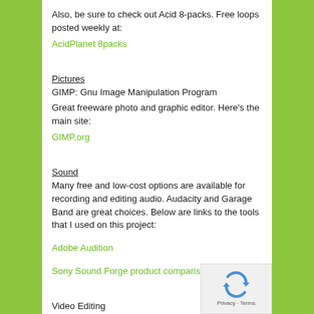Also, be sure to check out Acid 8-packs. Free loops posted weekly at:
AcidPlanet 8packs
Pictures
GIMP: Gnu Image Manipulation Program
Great freeware photo and graphic editor. Here's the main site:
GIMP.org
Sound
Many free and low-cost options are available for recording and editing audio. Audacity and Garage Band are great choices. Below are links to the tools that I used on this project:
Adobe Audition
Sony Sound Forge product comparison
Video Editing